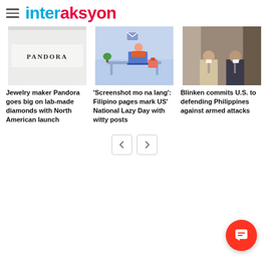interaksyon
[Figure (photo): Pandora jewelry store sign, white background with PANDORA branding]
Jewelry maker Pandora goes big on lab-made diamonds with North American launch
[Figure (illustration): Colorful illustration of a person lying down working on laptop, work from home / lazy day theme]
'Screenshot mo na lang': Filipino pages mark US' National Lazy Day with witty posts
[Figure (photo): Blinken meeting with Philippine officials, two men in formal wear standing]
Blinken commits U.S. to defending Philippines against armed attacks